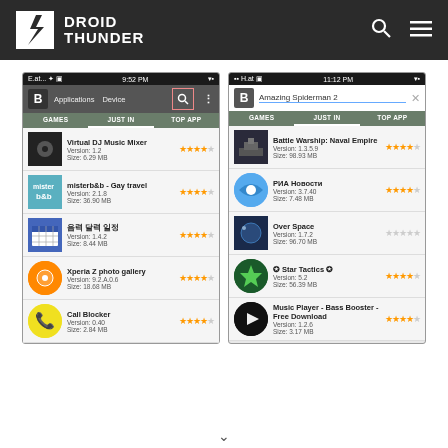[Figure (screenshot): Droid Thunder website header with logo and navigation icons on dark background]
[Figure (screenshot): Two Android smartphone screenshots showing app store (Applications page with games list including Virtual DJ Music Mixer, misterb&b, calendar app, Xperia Z photo gallery, Call Blocker on left; and Amazing Spiderman 2 search results showing Battle Warship Naval Empire, РИА Новости, Over Space, Star Tactics, Music Player Bass Booster on right)]